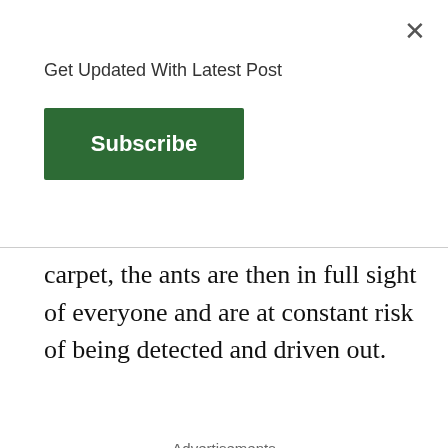Get Updated With Latest Post
Subscribe
carpet, the ants are then in full sight of everyone and are at constant risk of being detected and driven out.
Advertisements